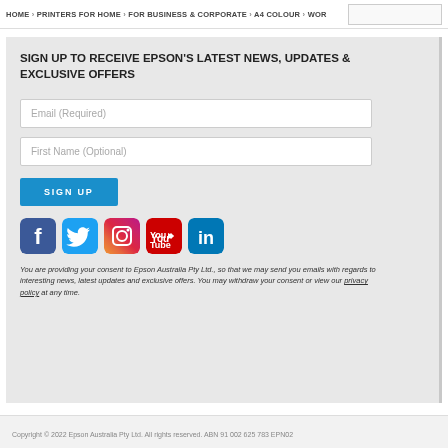HOME › PRINTERS FOR HOME › FOR BUSINESS & CORPORATE › A4 COLOUR › WOR…
SIGN UP TO RECEIVE EPSON'S LATEST NEWS, UPDATES & EXCLUSIVE OFFERS
Email (Required)
First Name (Optional)
SIGN UP
[Figure (illustration): Social media icons: Facebook, Twitter, Instagram, YouTube, LinkedIn]
You are providing your consent to Epson Australia Pty Ltd., so that we may send you emails with regards to interesting news, latest updates and exclusive offers. You may withdraw your consent or view our privacy policy at any time.
Copyright © 2022 Epson Australia Pty Ltd. All rights reserved. ABN 91 002 625 783 EPN02